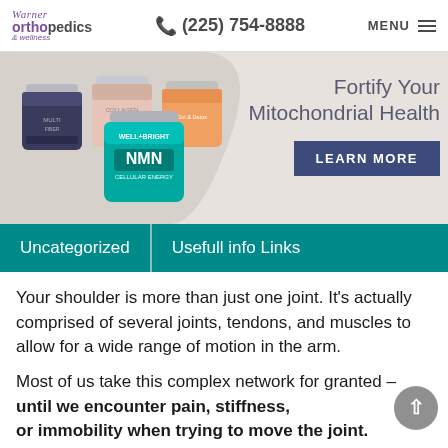Warner Orthopedics & Wellness | (225) 754-8888 | MENU
[Figure (screenshot): Advertisement banner showing supplement jars with text 'Fortify Your Mitochondrial Health' and a 'LEARN MORE' button]
Uncategorized
Usefull info Links
Your shoulder is more than just one joint. It's actually comprised of several joints, tendons, and muscles to allow for a wide range of motion in the arm.
Most of us take this complex network for granted – until we encounter pain, stiffness, or immobility when trying to move the joint.